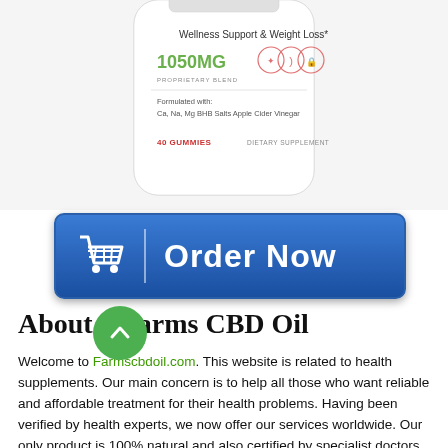[Figure (photo): Partial view of a white supplement bottle showing label text: Wellness Support & Weight Loss*, 1050MG, PROPRIETARY BLEND, Formulated with: Ca, Na, Mg BHB Salts Apple Cider Vinegar, 40 GUMMIES, DIETARY SUPPLEMENT with icons]
[Figure (other): Blue Order Now button with shopping cart icon]
About – Farms CBD Oil
Welcome to Farmscbdoil.com. This website is related to health supplements. Our main concern is to help all those who want reliable and affordable treatment for their health problems. Having been verified by health experts, we now offer our services worldwide. Our only product is 100% natural and also certified by specialist doctors. We believe the safety and goodness of our users, so each health supplement is first medically approved and then released into the market.